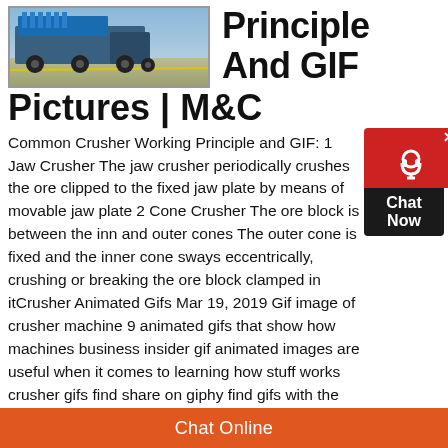[Figure (photo): Photo of a crusher machine/heavy equipment vehicle on a concrete surface, partially visible at top of page]
Principle And GIF Pictures | M&C
Common Crusher Working Principle and GIF: 1 Jaw Crusher The jaw crusher periodically crushes the ore clipped to the fixed jaw plate by means of movable jaw plate 2 Cone Crusher The ore block is between the inner and outer cones The outer cone is fixed and the inner cone sways eccentrically, crushing or breaking the ore block clamped in itCrusher Animated Gifs Mar 19, 2019 Gif image of crusher machine 9 animated gifs that show how machines business insider gif animated images are useful when it comes to learning how stuff works crusher gifs find share on giphy find gifs with the latest and newest hashtags search jaw crusher gif animation Know More 183
Chat Online